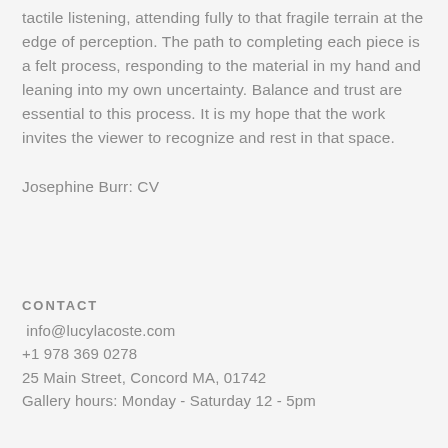tactile listening, attending fully to that fragile terrain at the edge of perception. The path to completing each piece is a felt process, responding to the material in my hand and leaning into my own uncertainty. Balance and trust are essential to this process. It is my hope that the work invites the viewer to recognize and rest in that space.
Josephine Burr: CV
CONTACT
info@lucylacoste.com
+1 978 369 0278
25 Main Street, Concord MA, 01742
Gallery hours: Monday - Saturday 12 - 5pm